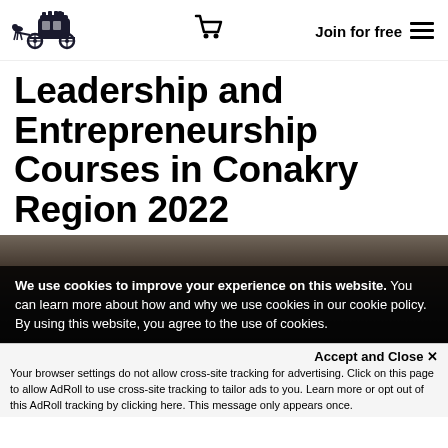[Figure (logo): Horse-drawn carriage logo in dark navy/black silhouette style]
Join for free  ☰
Leadership and Entrepreneurship Courses in Conakry Region 2022
[Figure (photo): Dark blurred background image of people in a room]
We use cookies to improve your experience on this website. You can learn more about how and why we use cookies in our cookie policy. By using this website, you agree to the use of cookies.
Accept and Close ✕
Your browser settings do not allow cross-site tracking for advertising. Click on this page to allow AdRoll to use cross-site tracking to tailor ads to you. Learn more or opt out of this AdRoll tracking by clicking here. This message only appears once.